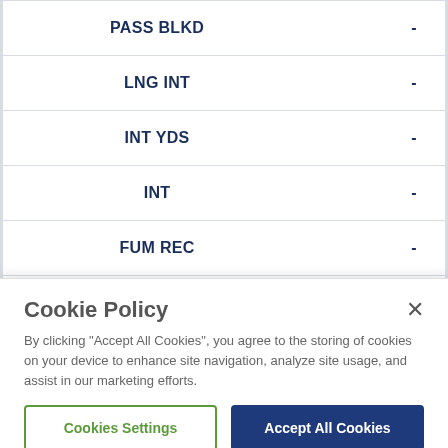| Stat | Value |
| --- | --- |
| PASS BLKD | - |
| LNG INT | - |
| INT YDS | - |
| INT | - |
| FUM REC | - |
| FRC FUM | 2 |
Cookie Policy
By clicking "Accept All Cookies", you agree to the storing of cookies on your device to enhance site navigation, analyze site usage, and assist in our marketing efforts.
Cookies Settings
Accept All Cookies